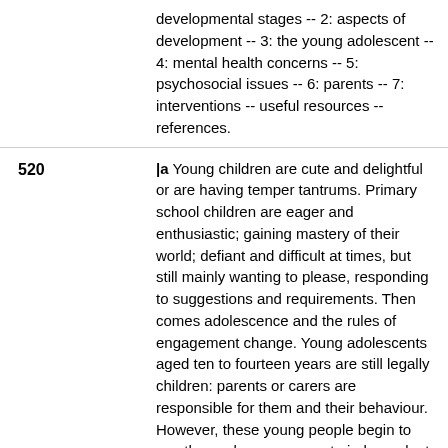developmental stages -- 2: aspects of development -- 3: the young adolescent -- 4: mental health concerns -- 5: psychosocial issues -- 6: parents -- 7: interventions -- useful resources -- references.
520 |a Young children are cute and delightful or are having temper tantrums. Primary school children are eager and enthusiastic; gaining mastery of their world; defiant and difficult at times, but still mainly wanting to please, responding to suggestions and requirements. Then comes adolescence and the rules of engagement change. Young adolescents aged ten to fourteen years are still legally children: parents or carers are responsible for them and their behaviour. However, these young people begin to see themselves as separate independent individuals. Friendships become more intense and the peer group becomes increasingly significant. External issues can be vital: clothes, hair style, make up, activities, behaviour in school or outside all come to